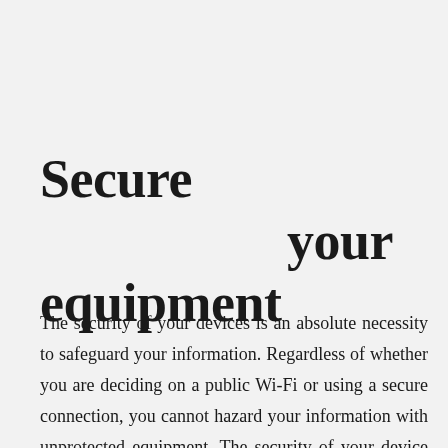Secure your equipment
The security of your devices is an absolute necessity to safeguard your information. Regardless of whether you are deciding on a public Wi-Fi or using a secure connection, you cannot hazard your information with unprotected equipment. The security of your device becomes especially pivotal when you